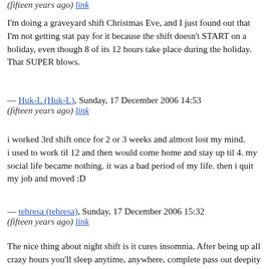(fifteen years ago) link
I'm doing a graveyard shift Christmas Eve, and I just found out that I'm not getting stat pay for it because the shift doesn't START on a holiday, even though 8 of its 12 hours take place during the holiday. That SUPER blows.
— Huk-L (Huk-L), Sunday, 17 December 2006 14:53 (fifteen years ago) link
i worked 3rd shift once for 2 or 3 weeks and almost lost my mind.
i used to work til 12 and then would come home and stay up til 4. my social life became nothing. it was a bad period of my life. then i quit my job and moved :D
— tehresa (tehresa), Sunday, 17 December 2006 15:32 (fifteen years ago) link
The nice thing about night shift is it cures insomnia. After being up all crazy hours you'll sleep anytime, anywhere, complete pass out deepity deep sleep. I cannot think of any other positive things about it.